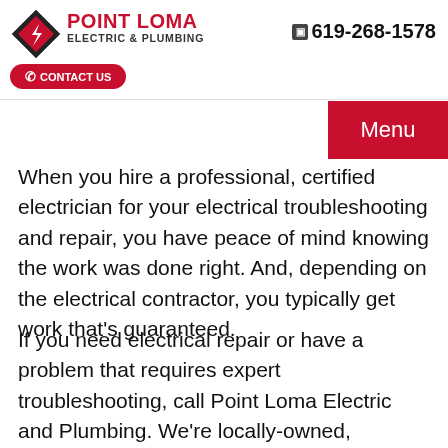POINT LOMA ELECTRIC & PLUMBING | CONTACT US | 619-268-1578 | Menu
When you hire a professional, certified electrician for your electrical troubleshooting and repair, you have peace of mind knowing the work was done right. And, depending on the electrical contractor, you typically get work that's guaranteed.
If you need electrical repair or have a problem that requires expert troubleshooting, call Point Loma Electric and Plumbing. We're locally-owned, professionally trained, and guarantee 100% satisfaction.